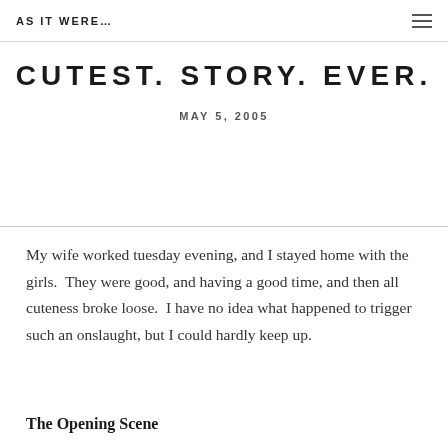AS IT WERE…
CUTEST. STORY. EVER.
MAY 5, 2005
My wife worked tuesday evening, and I stayed home with the girls.  They were good, and having a good time, and then all cuteness broke loose.  I have no idea what happened to trigger such an onslaught, but I could hardly keep up.
The Opening Scene